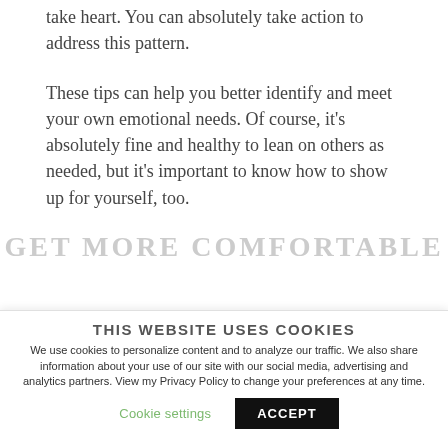take heart. You can absolutely take action to address this pattern.
These tips can help you better identify and meet your own emotional needs. Of course, it's absolutely fine and healthy to lean on others as needed, but it's important to know how to show up for yourself, too.
GET MORE COMFORTABLE
THIS WEBSITE USES COOKIES
We use cookies to personalize content and to analyze our traffic. We also share information about your use of our site with our social media, advertising and analytics partners. View my Privacy Policy to change your preferences at any time.
Cookie settings   ACCEPT